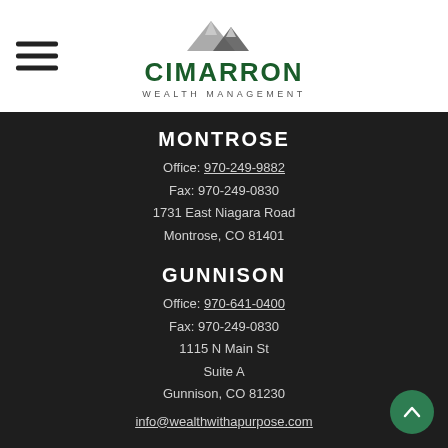Cimarron Wealth Management
MONTROSE
Office: 970-249-9882
Fax: 970-249-0830
1731 East Niagara Road
Montrose, CO 81401
GUNNISON
Office: 970-641-0400
Fax: 970-249-0830
1115 N Main St
Suite A
Gunnison, CO 81230
info@wealthwithapurpose.com
QUICK LINKS
Retirement